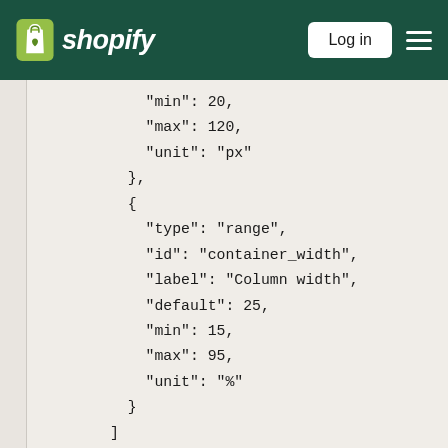[Figure (logo): Shopify navigation bar with logo, Log in button, and hamburger menu on dark green background]
"min": 20,
"max": 120,
"unit": "px"
},
{
"type": "range",
"id": "container_width",
"label": "Column width",
"default": 25,
"min": 15,
"max": 95,
"unit": "%"
}
]
},
{
"type": "html",